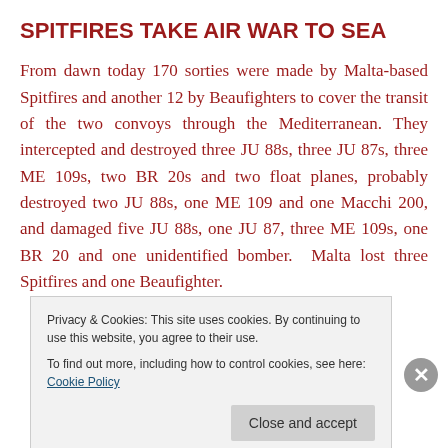SPITFIRES TAKE AIR WAR TO SEA
From dawn today 170 sorties were made by Malta-based Spitfires and another 12 by Beaufighters to cover the transit of the two convoys through the Mediterranean. They intercepted and destroyed three JU 88s, three JU 87s, three ME 109s, two BR 20s and two float planes, probably destroyed two JU 88s, one ME 109 and one Macchi 200, and damaged five JU 88s, one JU 87, three ME 109s, one BR 20 and one unidentified bomber. Malta lost three Spitfires and one Beaufighter.
Privacy & Cookies: This site uses cookies. By continuing to use this website, you agree to their use.
To find out more, including how to control cookies, see here: Cookie Policy